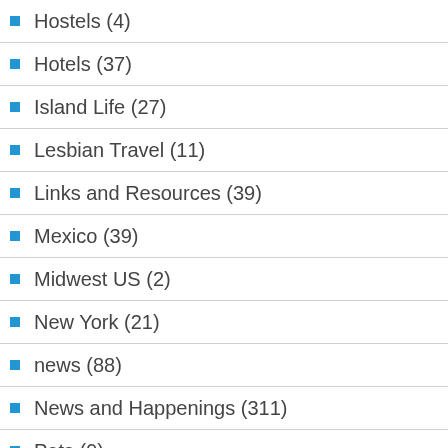Hostels (4)
Hotels (37)
Island Life (27)
Lesbian Travel (11)
Links and Resources (39)
Mexico (39)
Midwest US (2)
New York (21)
news (88)
News and Happenings (311)
Pets (9)
Photo of The Week (35)
Places of Interest (65)